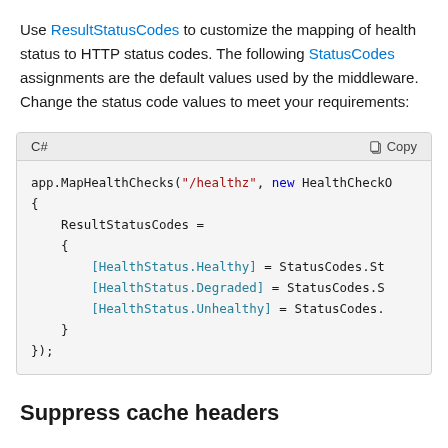Use ResultStatusCodes to customize the mapping of health status to HTTP status codes. The following StatusCodes assignments are the default values used by the middleware. Change the status code values to meet your requirements:
[Figure (screenshot): C# code block showing app.MapHealthChecks with ResultStatusCodes dictionary mapping HealthStatus.Healthy, HealthStatus.Degraded, and HealthStatus.Unhealthy to StatusCodes values]
Suppress cache headers